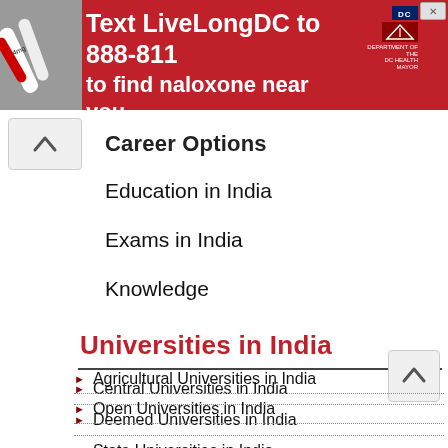[Figure (infographic): Red advertisement banner: Text LiveLongDC to 888-811 to find naloxone near you. DC and DOH logos shown. Close button in top right.]
Career Options
Education in India
Exams in India
Knowledge
Universities in India
Central Universities in India
Deemed Universities in India
State Universities in India
Private Universities in India
Agricultural Universities in India
Open Universities in India